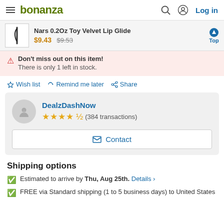bonanza  Log in
Nars 0.2Oz Toy Velvet Lip Glide $9.43 $9.53  Top
Don't miss out on this item! There is only 1 left in stock.
☆ Wish list  Remind me later  Share
DealzDashNow ★★★★½ (384 transactions)  Contact
Shipping options
Estimated to arrive by Thu, Aug 25th. Details >
FREE via Standard shipping (1 to 5 business days) to United States